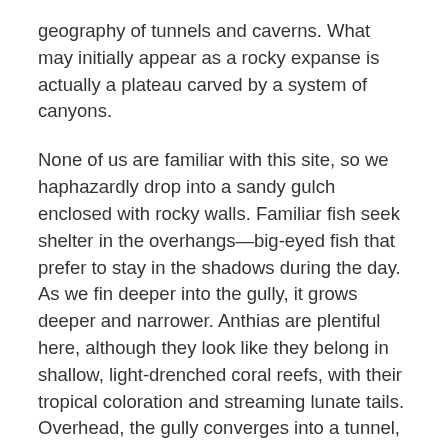geography of tunnels and caverns. What may initially appear as a rocky expanse is actually a plateau carved by a system of canyons.
None of us are familiar with this site, so we haphazardly drop into a sandy gulch enclosed with rocky walls. Familiar fish seek shelter in the overhangs—big-eyed fish that prefer to stay in the shadows during the day. As we fin deeper into the gully, it grows deeper and narrower. Anthias are plentiful here, although they look like they belong in shallow, light-drenched coral reefs, with their tropical coloration and streaming lunate tails. Overhead, the gully converges into a tunnel, and the Anthias swim oriented to the ceiling. Gravity is less relevant here.
We rise out of the canyon. Already, the sun's